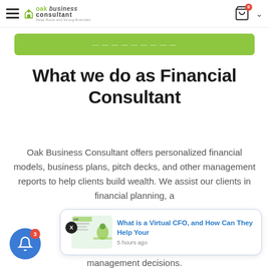Oak Business Consultant — Navigation bar with logo, cart icon
[Figure (screenshot): Green CTA button bar partially visible]
What we do as Financial Consultant
Oak Business Consultant offers personalized financial models, business plans, pitch decks, and other management reports to help clients build wealth. We assist our clients in financial planning, a... suited i... management decisions.
[Figure (screenshot): Notification popup: 'What is a Virtual CFO, and How Can They Help Your' with thumbnail image and '5 hours ago' timestamp. Close button X. Bell notification button with badge 3.]